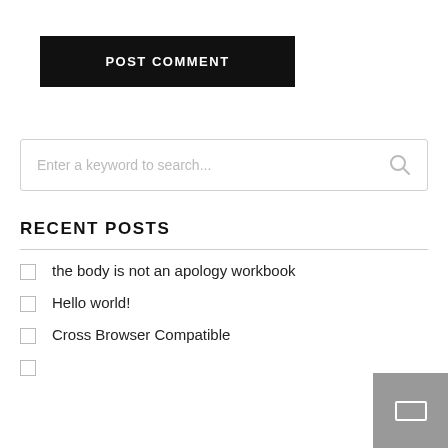POST COMMENT
[Figure (other): Search input box with placeholder text 'Enter a keyword to search...' and magnifying glass icon]
RECENT POSTS
the body is not an apology workbook
Hello world!
Cross Browser Compatible
(partially visible item at bottom)